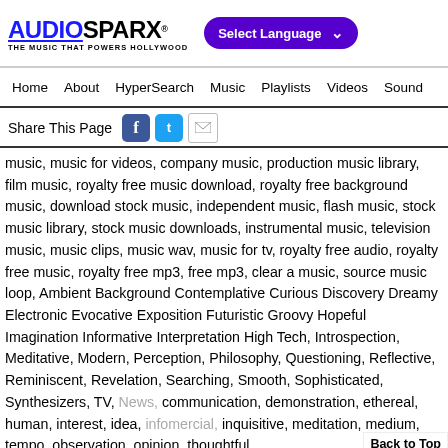AUDIOSPARX® THE MUSIC THAT POWERS HOLLYWOOD — Select Language nav: Home, About, HyperSearch, Music, Playlists, Videos, Sound
[Figure (screenshot): Share This Page bar with Facebook, Twitter, and email icons]
music, music for videos, company music, production music library, film music, royalty free music download, royalty free background music, download stock music, independent music, flash music, stock music library, stock music downloads, instrumental music, television music, music clips, music wav, music for tv, royalty free audio, royalty free music, royalty free mp3, free mp3, clear a music, source music loop, Ambient Background Contemplative Curious Discovery Dreamy Electronic Evocative Exposition Futuristic Groovy Hopeful Imagination Informative Interpretation High Tech, Introspection, Meditative, Modern, Perception, Philosophy, Questioning, Reflective, Reminiscent, Revelation, Searching, Smooth, Sophisticated, Synthesizers, TV, News, communication, demonstration, ethereal, human, interest, idea, infomercial, inquisitive, meditation, medium, tempo, observation, opinion, thoughtful,